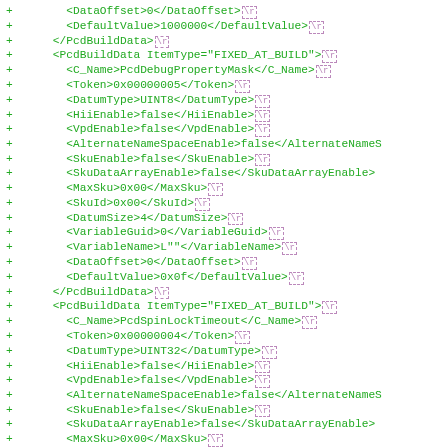diff code block showing XML PcdBuildData entries with + markers
+ <DataOffset>0</DataOffset> \r
+ <DefaultValue>1000000</DefaultValue> \r
+ </PcdBuildData> \r
+ <PcdBuildData ItemType="FIXED_AT_BUILD"> \r
+ <C_Name>PcdDebugPropertyMask</C_Name> \r
+ <Token>0x00000005</Token> \r
+ <DatumType>UINT8</DatumType> \r
+ <HiiEnable>false</HiiEnable> \r
+ <VpdEnable>false</VpdEnable> \r
+ <AlternateNameSpaceEnable>false</AlternateNameS
+ <SkuEnable>false</SkuEnable> \r
+ <SkuDataArrayEnable>false</SkuDataArrayEnable>
+ <MaxSku>0x00</MaxSku> \r
+ <SkuId>0x00</SkuId> \r
+ <DatumSize>4</DatumSize> \r
+ <VariableGuid>0</VariableGuid> \r
+ <VariableName>L""</VariableName> \r
+ <DataOffset>0</DataOffset> \r
+ <DefaultValue>0x0f</DefaultValue> \r
+ </PcdBuildData> \r
+ <PcdBuildData ItemType="FIXED_AT_BUILD"> \r
+ <C_Name>PcdSpinLockTimeout</C_Name> \r
+ <Token>0x00000004</Token> \r
+ <DatumType>UINT32</DatumType> \r
+ <HiiEnable>false</HiiEnable> \r
+ <VpdEnable>false</VpdEnable> \r
+ <AlternateNameSpaceEnable>false</AlternateNameS
+ <SkuEnable>false</SkuEnable> \r
+ <SkuDataArrayEnable>false</SkuDataArrayEnable>
+ <MaxSku>0x00</MaxSku> \r
+ <SkuId>0x00</SkuId> \r
+ <DatumSize>4</DatumSize> \r